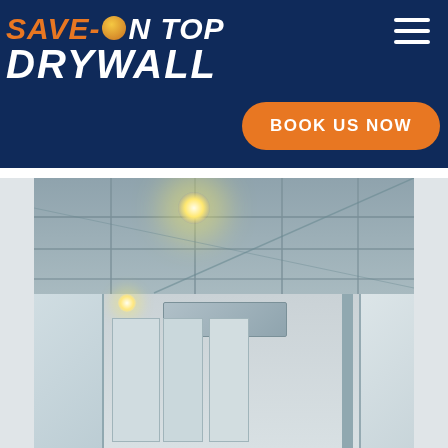SAVE-ON TOP DRYWALL
BOOK US NOW
[Figure (photo): Interior construction photo showing a hallway or corridor with exposed steel ceiling grid framing, drywall panels on the walls, and construction lighting. The space appears to be a commercial building under construction with metal stud framing visible.]